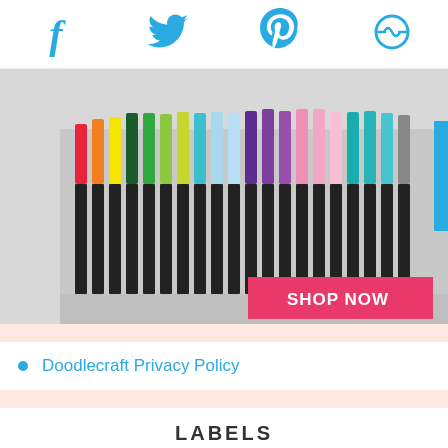Social media icons: Facebook, Twitter, Pinterest, Email/other
[Figure (photo): A spread of colorful dual-tip art markers/brush pens (Tombow ABT style) arranged in a fan, showing bright and pastel colors. A pink 'SHOP NOW' button overlays the bottom right.]
Doodlecraft Privacy Policy
LABELS
calligraphy